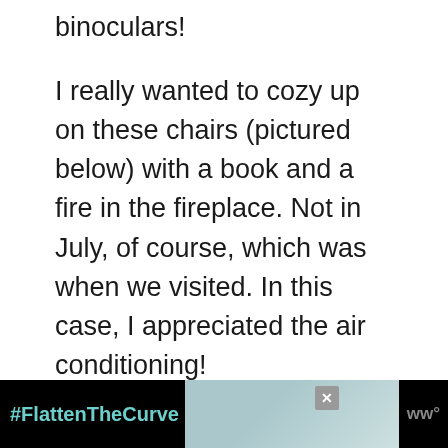binoculars!
I really wanted to cozy up on these chairs (pictured below) with a book and a fire in the fireplace. Not in July, of course, which was when we visited. In this case, I appreciated the air conditioning!
[Figure (photo): Partial view of a photo placeholder/image area showing chairs]
[Figure (infographic): Advertisement bar at bottom: black background with #FlattenTheCurve text in teal, image of hands being washed, close button, and wn logo]